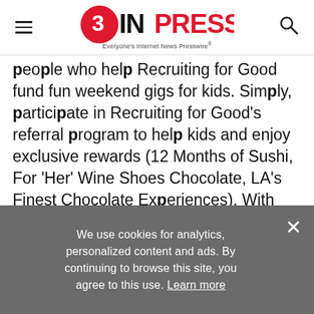EINPresswire Everyone's Internet News Presswire
people who help Recruiting for Good fund fun weekend gigs for kids. Simply, participate in Recruiting for Good's referral program to help kids and enjoy exclusive rewards (12 Months of Sushi, For 'Her' Wine Shoes Chocolate, LA's Finest Chocolate Experiences). With your help, we'll sponsor and create a kids gig at a designated LA school of your choice.
www.ChocolateSchoolProgram.com
We use cookies for analytics, personalized content and ads. By continuing to browse this site, you agree to this use. Learn more